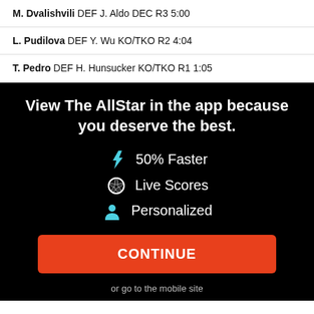M. Dvalishvili DEF J. Aldo DEC R3 5:00
L. Pudilova DEF Y. Wu KO/TKO R2 4:04
T. Pedro DEF H. Hunsucker KO/TKO R1 1:05
View The AllStar in the app because you deserve the best.
⚡ 50% Faster
⚽ Live Scores
👤 Personalized
CONTINUE
or go to the mobile site